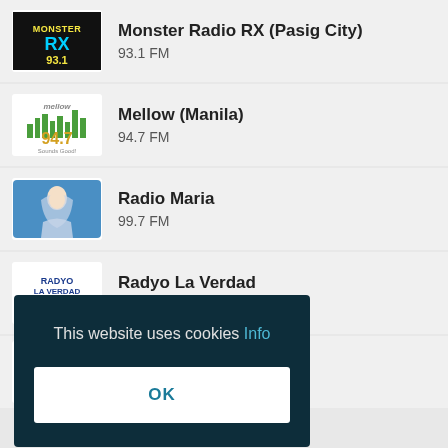Monster Radio RX (Pasig City) — 93.1 FM
Mellow (Manila) — 94.7 FM
Radio Maria — 99.7 FM
Radyo La Verdad — 1350 AM
Cool (Goa) — 90.1 FM
This website uses cookies Info
OK